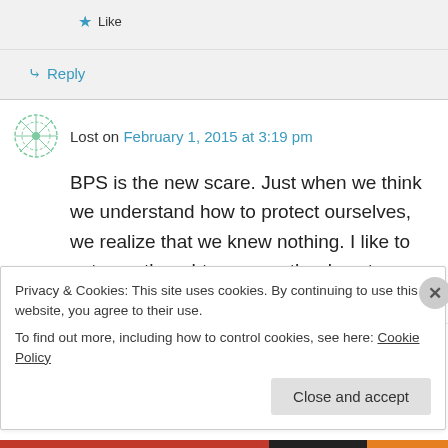Like
Reply
Lost on February 1, 2015 at 3:19 pm
BPS is the new scare. Just when we think we understand how to protect ourselves, we realize that we knew nothing. I like to get your thoughts as a mother how to position yourself. Thanks.
Privacy & Cookies: This site uses cookies. By continuing to use this website, you agree to their use.
To find out more, including how to control cookies, see here: Cookie Policy
Close and accept